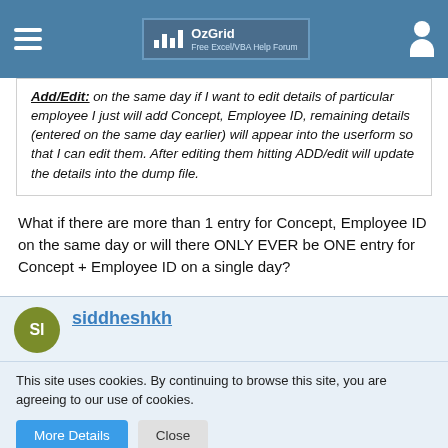OzGrid Free Excel/VBA Help Forum
Add/Edit: on the same day if I want to edit details of particular employee I just will add Concept, Employee ID, remaining details (entered on the same day earlier) will appear into the userform so that I can edit them. After editing them hitting ADD/edit will update the details into the dump file.
What if there are more than 1 entry for Concept, Employee ID on the same day or will there ONLY EVER be ONE entry for Concept + Employee ID on a single day?
siddheshkh
This site uses cookies. By continuing to browse this site, you are agreeing to our use of cookies.